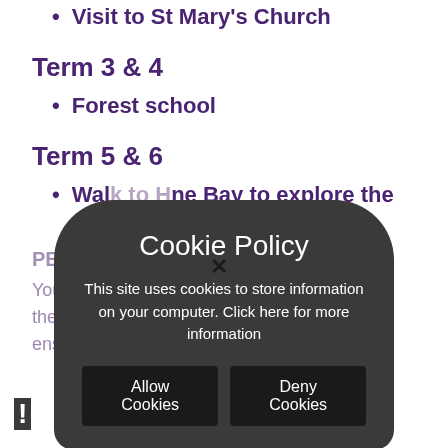Visit to St Mary's Church
Term 3 & 4
Forest school
Term 5 & 6
Walk to Herne Bay to explore the local history.
PE
You are asked to make sure they have their kit every day. Please ensure you make sure they have a suitable ...PE and
[Figure (other): Cookie Policy modal overlay with dark rounded background, title 'Cookie Policy', body text 'This site uses cookies to store information on your computer. Click here for more information', and two buttons: 'Allow Cookies' and 'Deny Cookies'. A close X button is visible at the top and an exclamation mark at the bottom left.]